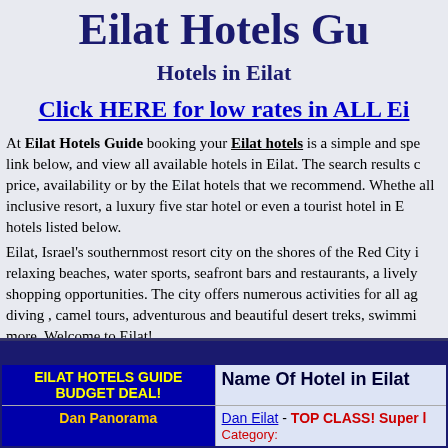Eilat Hotels Gu[ide]
Hotels in Eilat
Click HERE for low rates in ALL Ei[lat hotels]
At Eilat Hotels Guide booking your Eilat hotels is a simple and spe[edy process. Just click the] link below, and view all available hotels in Eilat. The search results c[an be sorted by] price, availability or by the Eilat hotels that we recommend. Whethe[r you are looking for an] all inclusive resort, a luxury five star hotel or even a tourist hotel in E[ilat, find it in the] hotels listed below.
Eilat, Israel's southernmost resort city on the shores of the Red City i[s known for its] relaxing beaches, water sports, seafront bars and restaurants, a lively [nightlife and great] shopping opportunities. The city offers numerous activities for all ag[es, including scuba] diving , camel tours, adventurous and beautiful desert treks, swimmi[ng, snorkeling, and] more. Welcome to Eilat!
| EILAT HOTELS GUIDE BUDGET DEAL! | Name Of Hotel in Eilat |
| --- | --- |
| Dan Panorama | Dan Eilat - TOP CLASS! Super ... | Category: |